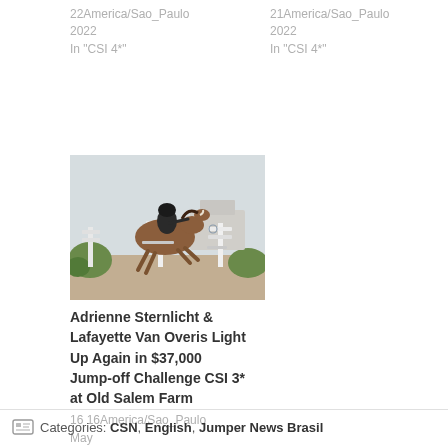22America/Sao_Paulo 2022
In "CSI 4*"
21America/Sao_Paulo 2022
In "CSI 4*"
[Figure (photo): Equestrian show jumping: rider on brown horse clearing white fence obstacles outdoors]
Adrienne Sternlicht & Lafayette Van Overis Light Up Again in $37,000 Jump-off Challenge CSI 3* at Old Salem Farm
16 16America/Sao_Paulo May 16America/Sao_Paulo 2022
In "CSI 3*"
Categories: CSN, English, Jumper News Brasil